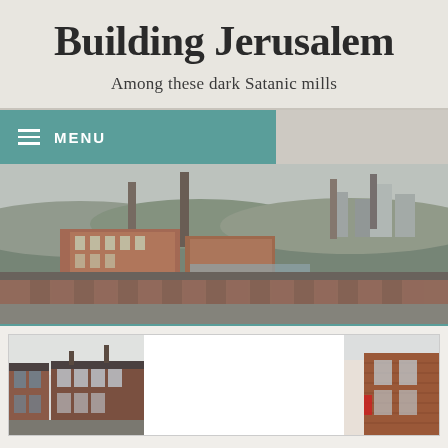Building Jerusalem
Among these dark Satanic mills
[Figure (screenshot): Teal menu bar with hamburger icon and MENU text]
[Figure (photo): Panoramic aerial view of an industrial English city with red brick terraced houses, factory chimneys, and urban skyline under overcast sky]
[Figure (photo): Street-level view of red brick terraced houses in an English town, with another partial photo on the right edge]